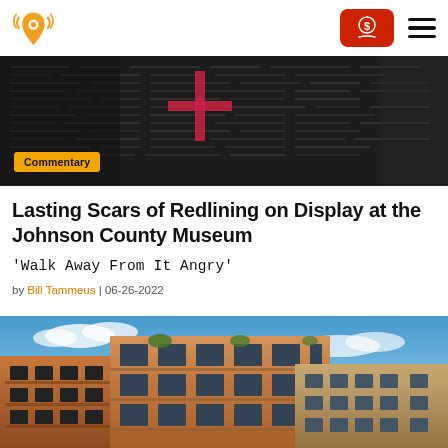Site logo and navigation bar with donate button and hamburger menu
[Figure (photo): Dark textured wall or panel with a red cross shape and dense text overlay, with an orange 'Commentary' badge in the lower left]
Lasting Scars of Redlining on Display at the Johnson County Museum
'Walk Away From It Angry'
by Bill Tammeus | 06-26-2022
[Figure (photo): Modern apartment or condominium buildings with balconies and large windows, photographed against a blue sky with white clouds]